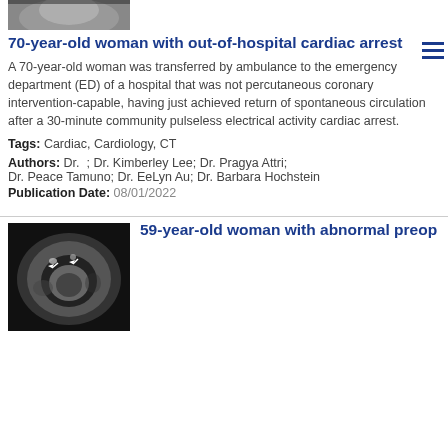[Figure (photo): Grayscale medical image thumbnail at top of page (partially visible)]
70-year-old woman with out-of-hospital cardiac arrest
A 70-year-old woman was transferred by ambulance to the emergency department (ED) of a hospital that was not percutaneous coronary intervention-capable, having just achieved return of spontaneous circulation after a 30-minute community pulseless electrical activity cardiac arrest.
Tags: Cardiac, Cardiology, CT
Authors: Dr.  ; Dr. Kimberley Lee; Dr. Pragya Attri; Dr. Peace Tamuno; Dr. EeLyn Au; Dr. Barbara Hochstein
Publication Date: 08/01/2022
[Figure (photo): Grayscale cardiac MRI image showing cross-section of heart with two white arrow markers pointing to areas of interest]
59-year-old woman with abnormal preop